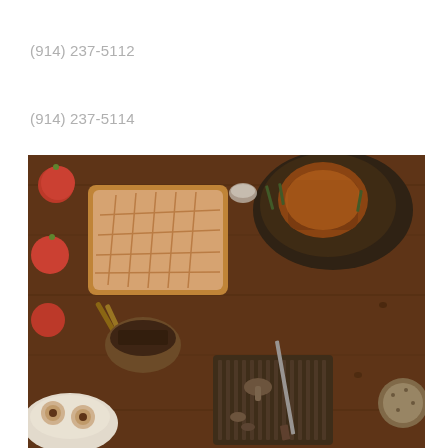(914) 237-5112
(914) 237-5114
[Figure (photo): Overhead flat-lay food photo on a rustic dark wood table featuring a large scored artisan bread loaf dusted with powdered sugar, a roasted whole chicken in a dark pan with herbs, red apples, cinnamon sticks, a bowl of chocolate shavings, pastries with chocolate swirls on a plate, a grooved baking pan with mushrooms and a knife, and decorative items on the right edge.]